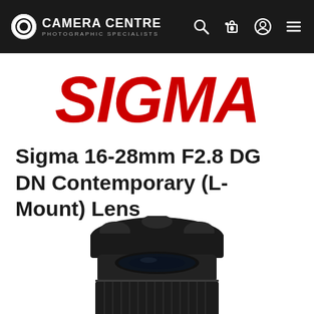Camera Centre – Photographic Specialists
[Figure (logo): Sigma brand logo in bold red italic text]
Sigma 16-28mm F2.8 DG DN Contemporary (L-Mount) Lens
[Figure (photo): Black Sigma 16-28mm F2.8 DG DN Contemporary lens shown from front-top angle with petal lens hood attached]